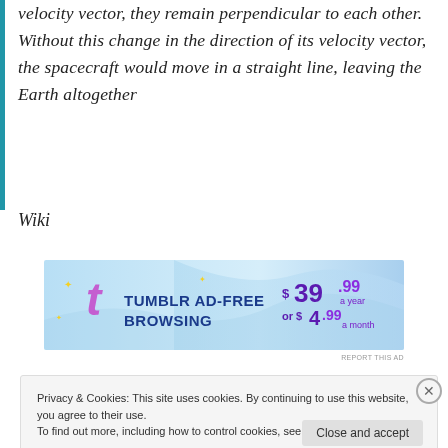velocity vector, they remain perpendicular to each other. Without this change in the direction of its velocity vector, the spacecraft would move in a straight line, leaving the Earth altogether
Wiki
[Figure (other): Tumblr Ad-Free Browsing advertisement banner showing $39.99 a year or $4.99 a month]
Privacy & Cookies: This site uses cookies. By continuing to use this website, you agree to their use. To find out more, including how to control cookies, see here: Cookie Policy